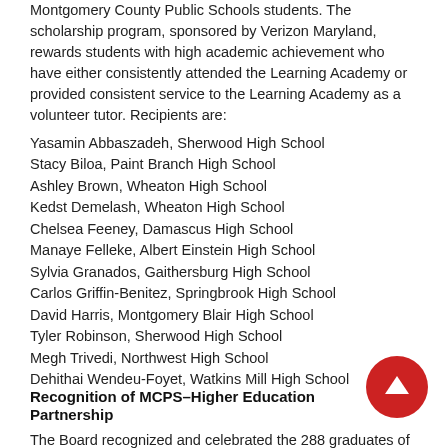Montgomery County Public Schools students. The scholarship program, sponsored by Verizon Maryland, rewards students with high academic achievement who have either consistently attended the Learning Academy or provided consistent service to the Learning Academy as a volunteer tutor. Recipients are:
Yasamin Abbaszadeh, Sherwood High School
Stacy Biloa, Paint Branch High School
Ashley Brown, Wheaton High School
Kedst Demelash, Wheaton High School
Chelsea Feeney, Damascus High School
Manaye Felleke, Albert Einstein High School
Sylvia Granados, Gaithersburg High School
Carlos Griffin-Benitez, Springbrook High School
David Harris, Montgomery Blair High School
Tyler Robinson, Sherwood High School
Megh Trivedi, Northwest High School
Dehithai Wendeu-Foyet, Watkins Mill High School
Recognition of MCPS–Higher Education Partnership
The Board recognized and celebrated the 288 graduates of